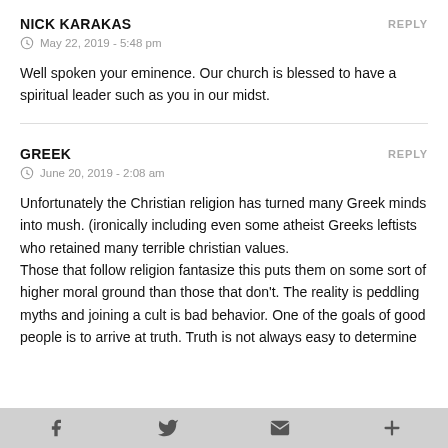NICK KARAKAS
REPLY
May 22, 2019 - 5:48 pm
Well spoken your eminence. Our church is blessed to have a spiritual leader such as you in our midst.
GREEK
REPLY
June 20, 2019 - 2:08 am
Unfortunately the Christian religion has turned many Greek minds into mush. (ironically including even some atheist Greeks leftists who retained many terrible christian values.
Those that follow religion fantasize this puts them on some sort of higher moral ground than those that don't. The reality is peddling myths and joining a cult is bad behavior. One of the goals of good people is to arrive at truth. Truth is not always easy to determine
f  t  mail  +